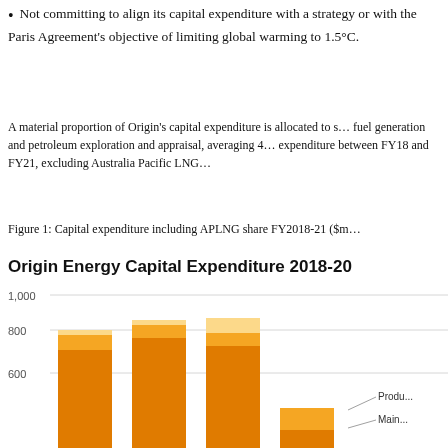Not committing to align its capital expenditure with a net zero strategy or with the Paris Agreement's objective of limiting global warming to 1.5°C.
A material proportion of Origin's capital expenditure is allocated to s... fuel generation and petroleum exploration and appraisal, averaging 4... expenditure between FY18 and FY21, excluding Australia Pacific LNG...
Figure 1: Capital expenditure including APLNG share FY2018-21 ($m...
[Figure (stacked-bar-chart): Origin Energy Capital Expenditure 2018-20...]